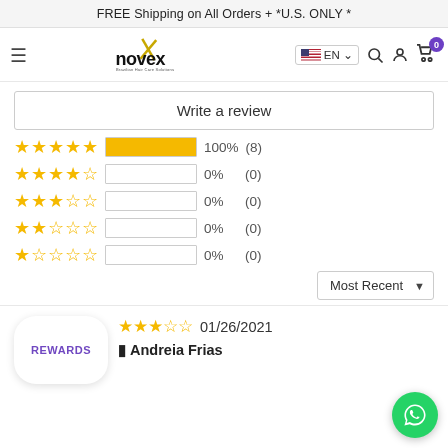FREE Shipping on All Orders + *U.S. ONLY *
[Figure (logo): Novex Brazilian Hair Care Solutions logo with navigation bar including hamburger menu, US flag language selector showing EN, search icon, account icon, and cart icon with badge showing 0]
Write a review
[Figure (bar-chart): Star rating distribution]
Most Recent
01/26/2021
Andreia Frias